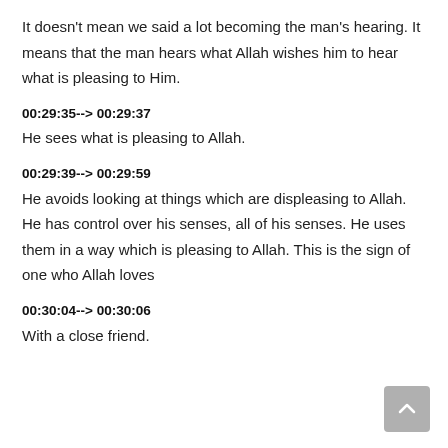It doesn't mean we said a lot becoming the man's hearing. It means that the man hears what Allah wishes him to hear what is pleasing to Him.
00:29:35--> 00:29:37
He sees what is pleasing to Allah.
00:29:39--> 00:29:59
He avoids looking at things which are displeasing to Allah. He has control over his senses, all of his senses. He uses them in a way which is pleasing to Allah. This is the sign of one who Allah loves
00:30:04--> 00:30:06
With a close friend.